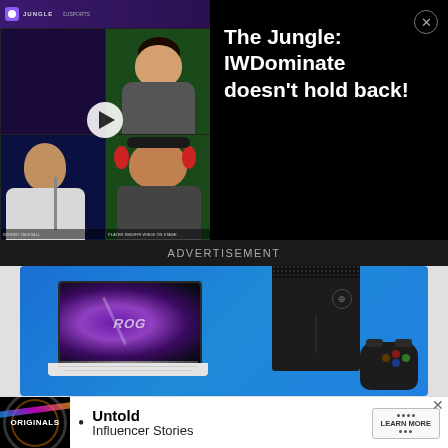[Figure (screenshot): Video player thumbnail showing The Jungle esports show with IWDominate. Split screen with three streamers on green screens and one host in dark studio. Play button overlay visible.]
The Jungle: IWDominate doesn't hold back!
ADVERTISEMENT
[Figure (photo): Advertisement showing ASUS ROG gaming laptop (white) and Xbox Series X console with controller on blue gradient background.]
[Figure (screenshot): Bottom banner advertisement for 'Originals: Untold Influencer Stories' with circular logo, bullet point text, and Learn More button with X close button.]